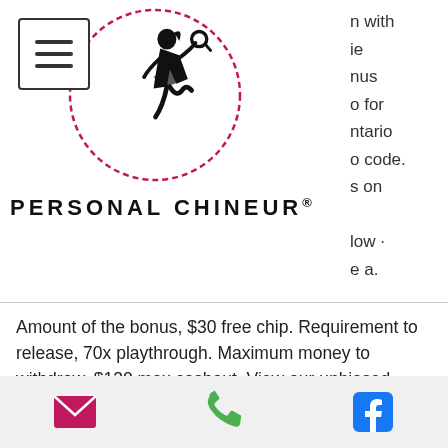[Figure (logo): Personal Chineur logo: hamburger menu icon box on left, circular red-dashed border with black silhouette of woman detective/shopper figure, brand name PERSONAL CHINEUR with registered trademark symbol below]
n with
ie
nus
o for
ntario
o code.
s on

low -
e a.
Amount of the bonus, $30 free chip. Requirement to release, 70x playthrough. Maximum money to withdraw, $130 max cashout. View our unbiased review for slots plus casino. ✓ find out slots plus no deposit bonus, bonus codes and coupon codes for us players. Give you a 200%+ match on your first deposit plus free spins? Take an advantage of slots plus casino: 30 free spins no deposit bonus on the "book bandits 2"
Email | Phone | Facebook